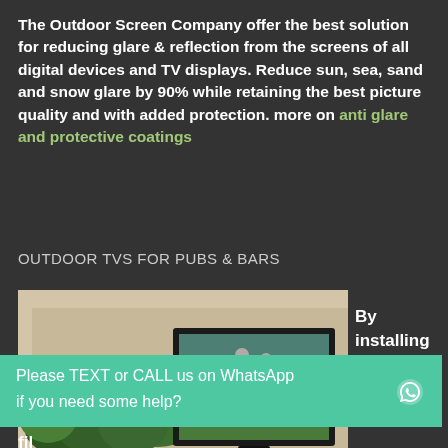The Outdoor Screen Company offer the best solution for reducing glare & reflection from the screens of all digital devices and TV displays. Reduce sun, sea, sand and snow glare by 90% while retaining the best picture quality and with added protection. more on anti glare and protective coatings
OUTDOOR TVS FOR PUBS & BARS
[Figure (photo): Outdoor TV mounted on a wall showing two soccer players, with green shrubs/plants below it. An IP 66 Rated badge visible on the image.]
By installing are nti reflective
Please TEXT or CALL us on WhatsApp

if you need some help?